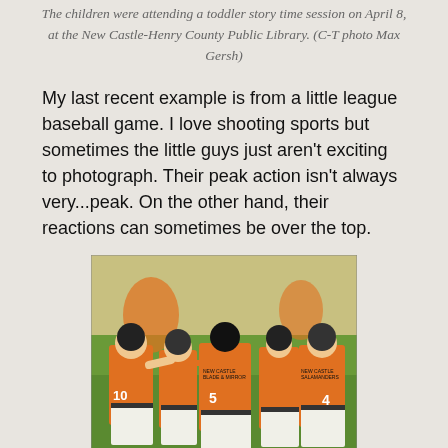The children were attending a toddler story time session on April 8, at the New Castle-Henry County Public Library. (C-T photo Max Gersh)
My last recent example is from a little league baseball game. I love shooting sports but sometimes the little guys just aren't exciting to photograph. Their peak action isn't always very...peak. On the other hand, their reactions can sometimes be over the top.
[Figure (photo): Youth baseball players in orange uniforms celebrating together on a field. Players visible include numbers 10, 5, and 4. Players are wearing black batting helmets and embracing/celebrating.]